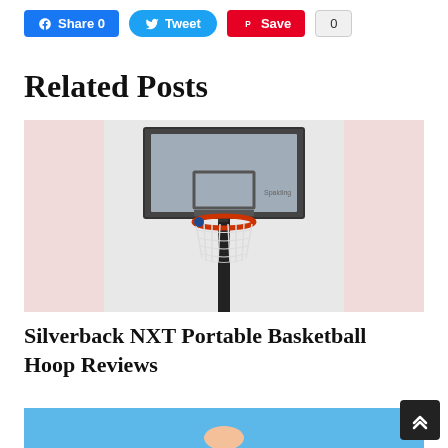[Figure (screenshot): Social sharing buttons: Facebook Share 0, Tweet (Twitter), Pinterest Save, count badge 0]
Related Posts
[Figure (photo): Silverback NXT Portable Basketball Hoop mounted on a pole, showing backboard, rim, and net against a white/pink blurred background]
Silverback NXT Portable Basketball Hoop Reviews
[Figure (photo): Partial image of a person in blue outfit, second related post thumbnail]